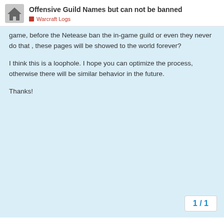Offensive Guild Names but can not be banned | Warcraft Logs
game, before the Netease ban the in-game guild or even they never do that , these pages will be showed to the world forever?
I think this is a loophole. I hope you can optimize the process, otherwise there will be similar behavior in the future.
Thanks!
1 / 1